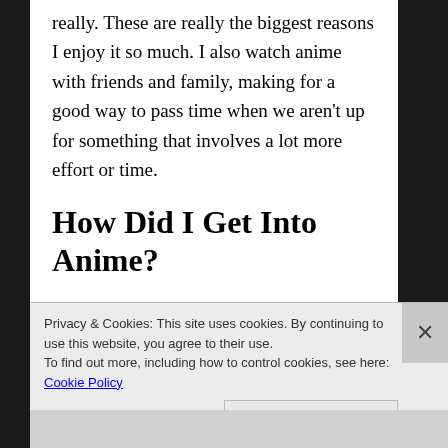really. These are really the biggest reasons I enjoy it so much. I also watch anime with friends and family, making for a good way to pass time when we aren't up for something that involves a lot more effort or time.
How Did I Get Into Anime?
I first started watching anime when I was very young. I watched shows like Pokémon and Sailor Moon. As I got older, I watched less and less. It was only about 2 years ago that I really started
Privacy & Cookies: This site uses cookies. By continuing to use this website, you agree to their use.
To find out more, including how to control cookies, see here: Cookie Policy
Close and accept